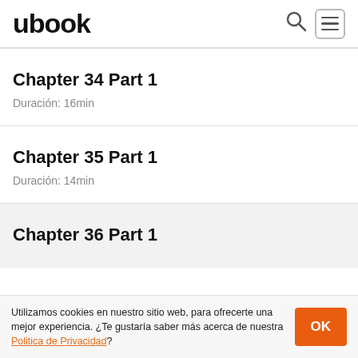ubook
Chapter 34 Part 1
Duración: 16min
Chapter 35 Part 1
Duración: 14min
Chapter 36 Part 1
Utilizamos cookies en nuestro sitio web, para ofrecerte una mejor experiencia. ¿Te gustaría saber más acerca de nuestra Politica de Privacidad?